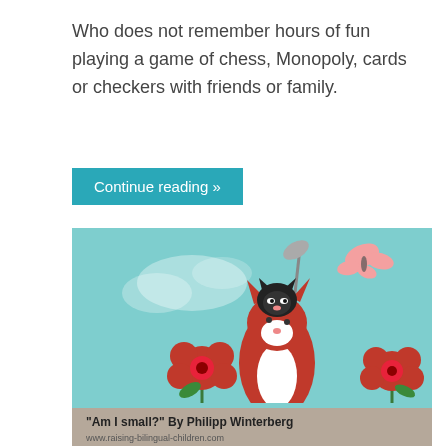Who does not remember hours of fun playing a game of chess, Monopoly, cards or checkers with friends or family.
Continue reading »
[Figure (illustration): Children's book illustration showing a red fox wearing a black cat on its head, surrounded by red flowers, with a pink butterfly, against a light teal background. Caption reads: '"Am I small?" By Philipp Winterberg' and 'www.raising-bilingual-children.com']